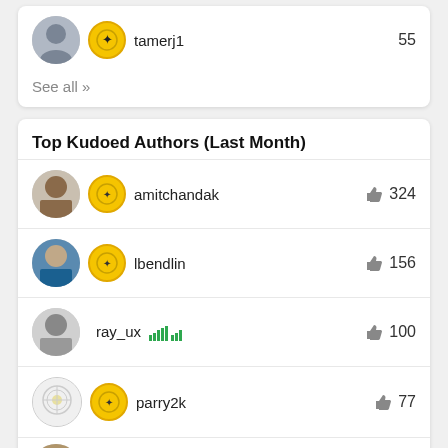tamerj1  55
See all >>
Top Kudoed Authors (Last Month)
amitchandak  324
lbendlin  156
ray_ux  100
parry2k  77